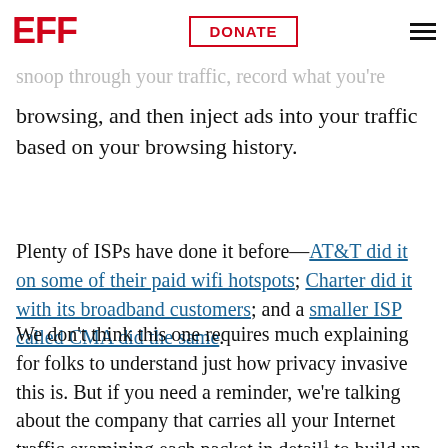EFF | DONATE
This is the biggest one people are worried about, and with good reason. ISPs have every incentive to snoop through your traffic, record what you're browsing, and then inject ads into your traffic based on your browsing history.
Plenty of ISPs have done it before—AT&T did it on some of their paid wifi hotspots; Charter did it with its broadband customers; and a smaller ISP called CMA did the same.
We don't think this one requires much explaining for folks to understand just how privacy invasive this is. But if you need a reminder, we're talking about the company that carries all your Internet traffic examining each packet in detail¹ to build up a profile on you, which they can then use to inject even more ads into your browsing experience. (Or,